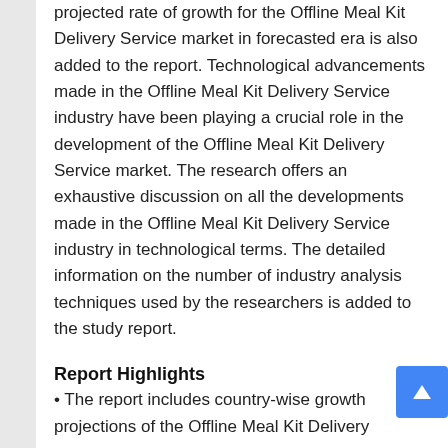projected rate of growth for the Offline Meal Kit Delivery Service market in forecasted era is also added to the report. Technological advancements made in the Offline Meal Kit Delivery Service industry have been playing a crucial role in the development of the Offline Meal Kit Delivery Service market. The research offers an exhaustive discussion on all the developments made in the Offline Meal Kit Delivery Service industry in technological terms. The detailed information on the number of industry analysis techniques used by the researchers is added to the study report.
Report Highlights
• The report includes country-wise growth projections of the Offline Meal Kit Delivery